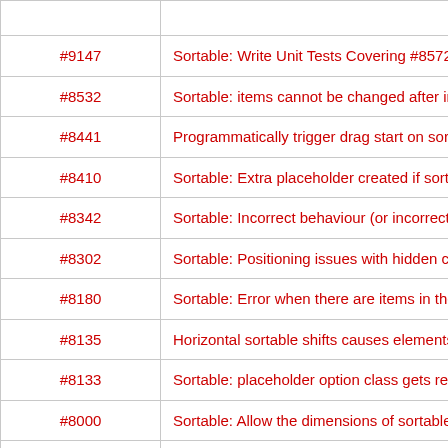| # | Description |
| --- | --- |
| #9147 | Sortable: Write Unit Tests Covering #8572, #8573, #8574 |
| #8532 | Sortable: items cannot be changed after init |
| #8441 | Programmatically trigger drag start on sortables |
| #8410 | Sortable: Extra placeholder created if sort occurs during conne… |
| #8342 | Sortable: Incorrect behaviour (or incorrect documentation) of so… |
| #8302 | Sortable: Positioning issues with hidden connected lists |
| #8180 | Sortable: Error when there are items in the sortable container th… |
| #8135 | Horizontal sortable shifts causes elements to shift down |
| #8133 | Sortable: placeholder option class gets replaced with an object |
| #8000 | Sortable: Allow the dimensions of sortable items to be changed… |
| #7941 | Sortable: clicking a sortable item does not cause form element… |
| #7815 | Sortable: jumping bug when items size are different. |
| #7619 | Sortable: Add refreshPositions option to detect dynamically crea… |